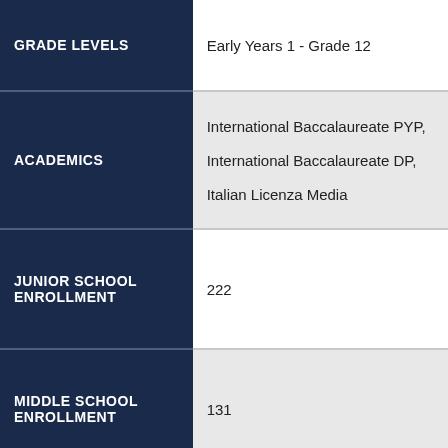| Category | Value |
| --- | --- |
| GRADE LEVELS | Early Years 1 - Grade 12 |
| ACADEMICS | International Baccalaureate PYP, International Baccalaureate DP, Italian Licenza Media |
| JUNIOR SCHOOL ENROLLMENT | 222 |
| MIDDLE SCHOOL ENROLLMENT | 131 |
| HIGH SCHOOL ENROLLMENT | 217 |
| ACCREDITATIONS | Council of International Schools (CIS), Middle States Association |